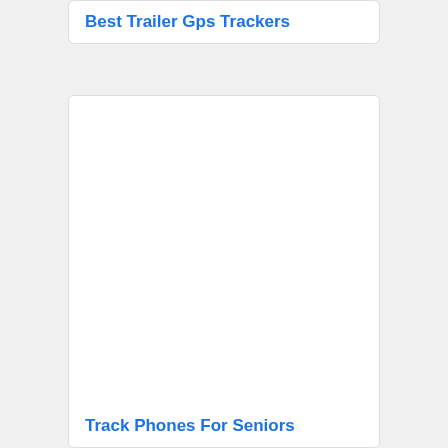Best Trailer Gps Trackers
[Figure (photo): Empty white image area for second card]
Track Phones For Seniors